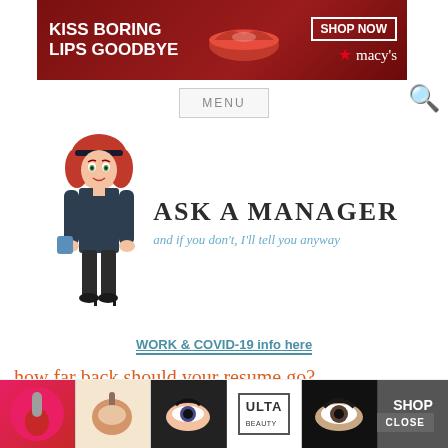[Figure (photo): Macy's advertisement banner: 'KISS BORING LIPS GOODBYE' with SHOP NOW button and Macy's star logo, showing lips image]
MENU
[Figure (illustration): Ask A Manager website logo: cartoon illustration of red-haired woman in business attire next to large text 'Ask A Manager' with italic subtitle 'and if you don't, I'll tell you anyway']
WORK & COVID-19 info here
how far back should your resume go?
by ALISON GREEN on JULY 9, 2019
A reader
[Figure (photo): Bottom advertisement strip showing beauty/makeup product photos with ULTA logo and SHOP NOW button, with CLOSE button overlay]